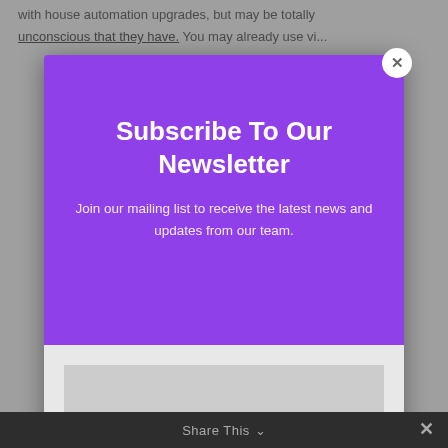with house automation upgrades, but may be totally unconscious that they have. You may already use vi...
[Figure (screenshot): Newsletter subscription modal popup overlay on a webpage. Purple upper section with title 'Subscribe To Our Newsletter' and subtitle 'Join our mailing list to receive the latest news and updates from our team.' White lower section with EMAIL input field and SUBSCRIBE! button. Close (X) button in top right corner.]
Subscribe To Our Newsletter
Join our mailing list to receive the latest news and updates from our team.
EMAIL
SUBSCRIBE!
Share This ∨  ×